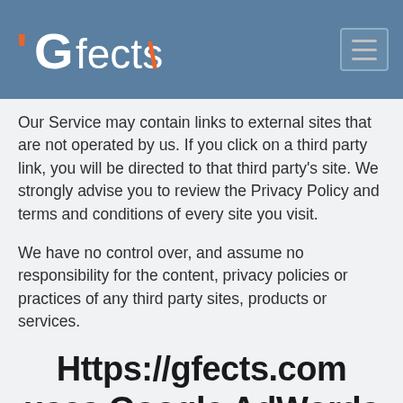Gfects
Our Service may contain links to external sites that are not operated by us. If you click on a third party link, you will be directed to that third party's site. We strongly advise you to review the Privacy Policy and terms and conditions of every site you visit.
We have no control over, and assume no responsibility for the content, privacy policies or practices of any third party sites, products or services.
Https://gfects.com uses Google AdWords for remarketing